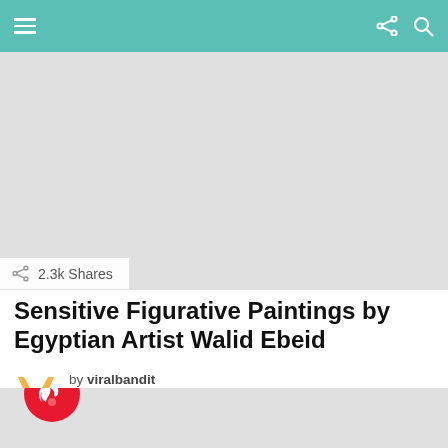Navigation bar with menu, share, and search icons
[Figure (photo): Large placeholder hero image with light gray background]
2.3k Shares
Sensitive Figurative Paintings by Egyptian Artist Walid Ebeid
by viralbandit
February 4, 2021, 3:09 pm
[Figure (photo): Second placeholder image with light gray background and flame icon overlay]